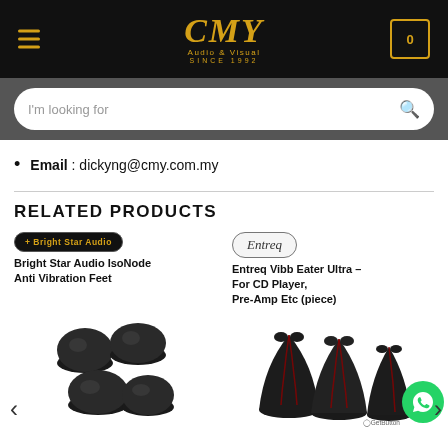[Figure (screenshot): CMY Audio & Visual website header with black background, CMY logo in gold italic serif font, 'Audio & Visual' and 'SINCE 1992' in gold text, hamburger menu icon on left, cart icon showing 0 on right]
[Figure (screenshot): Dark grey search bar area with white rounded search input showing 'I'm looking for' placeholder text and magnifying glass icon]
Email   : dickyng@cmy.com.my
RELATED PRODUCTS
[Figure (logo): Bright Star Audio pill-shaped logo with dark background and gold text]
Bright Star Audio IsoNode Anti Vibration Feet
[Figure (logo): Entreq oval logo with italic serif text on light background with dark border]
Entreq Vibb Eater Ultra – For CD Player, Pre-Amp Etc (piece)
[Figure (photo): Black dome-shaped IsoNode anti-vibration feet, four pieces shown on white background]
[Figure (photo): Entreq Vibb Eater Ultra devices, three black leather-wrapped cone-shaped pieces with red stitching shown on white background, with green WhatsApp chat button overlay]